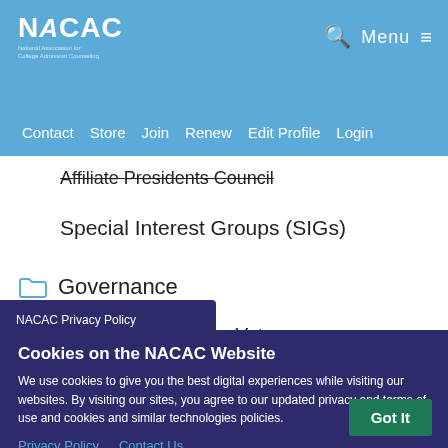NACAC | National Association for College Admission Counseling
Contact  Store  Join  Renew  Edit Profile  Login
Affiliate Presidents Council
Special Interest Groups (SIGs)
Governance
NACAC Annual Member Vote
NACAC Privacy Policy
Cookies on the NACAC Website
We use cookies to give you the best digital experiences while visiting our websites. By visiting our sites, you agree to our updated privacy and terms of use and cookies and similar technologies policies.
Privacy Policy   Contact Us
Got It